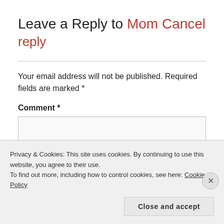Leave a Reply to Mom Cancel reply
Your email address will not be published. Required fields are marked *
Comment *
Privacy & Cookies: This site uses cookies. By continuing to use this website, you agree to their use.
To find out more, including how to control cookies, see here: Cookie Policy
Close and accept